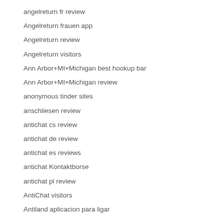angelreturn fr review
Angelreturn frauen app
Angelreturn review
Angelreturn visitors
Ann Arbor+MI+Michigan best hookup bar
Ann Arbor+MI+Michigan review
anonymous tinder sites
anschliesen review
antichat cs review
antichat de review
antichat es reviews
antichat Kontaktborse
antichat pl review
AntiChat visitors
Antiland aplicacion para ligar